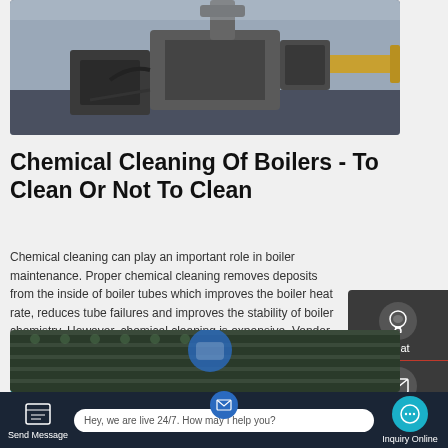[Figure (photo): Industrial boiler machinery with pipes, a burner unit, and yellow gas pipe visible in background]
Chemical Cleaning Of Boilers - To Clean Or Not To Clean
Chemical cleaning can play an important role in boiler maintenance. Proper chemical cleaning removes deposits from the inside of boiler tubes which improves the boiler heat rate, reduces tube failures and improves the stability of boiler chemistry. However, chemical cleaning is expensive. Vendor costs alone may total $50,000 to $150,000
[Figure (screenshot): Get A Quote button - teal/cyan colored rounded rectangle button]
[Figure (photo): Industrial boiler tubes/pipes interior view]
Hey, we are live 24/7. How may I help you?